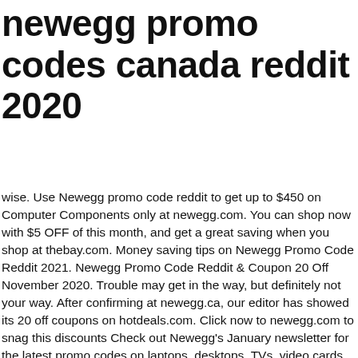newegg promo codes canada reddit 2020
wise. Use Newegg promo code reddit to get up to $450 on Computer Components only at newegg.com. You can shop now with $5 OFF of this month, and get a great saving when you shop at thebay.com. Money saving tips on Newegg Promo Code Reddit 2021. Newegg Promo Code Reddit & Coupon 20 Off November 2020. Trouble may get in the way, but definitely not your way. After confirming at newegg.ca, our editor has showed its 20 off coupons on hotdeals.com. Click now to newegg.com to snag this discounts Check out Newegg's January newsletter for the latest promo codes on laptops, desktops, TVs, video cards, solid state drives, and more. Spoke with Newegg and they say sorry but it will be 7-10 business days to find out an answer for you. MORE+. Absolutely, It does have free shipping codes, We have confirmed discount policies from newegg.ca and listed its free shipping codes at hotdeals.com. Get product from categories like computer parts, PC component, laptop computer and more with various brand available. Don't miss it. Grab the latest working Newegg Canada coupons, discount codes and promos. Exciting OFFER up to $500 discount on